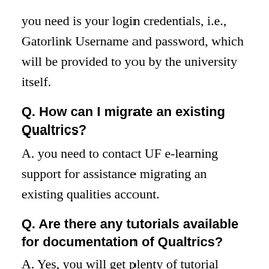you need is your login credentials, i.e., Gatorlink Username and password, which will be provided to you by the university itself.
Q. How can I migrate an existing Qualtrics?
A. you need to contact UF e-learning support for assistance migrating an existing qualities account.
Q. Are there any tutorials available for documentation of Qualtrics?
A. Yes, you will get plenty of tutorial videos and FAQs on their academic support page